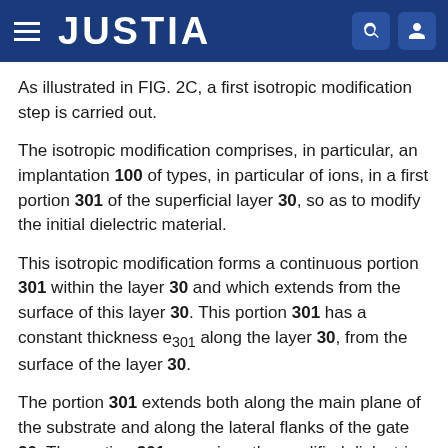JUSTIA
As illustrated in FIG. 2C, a first isotropic modification step is carried out.
The isotropic modification comprises, in particular, an implantation 100 of types, in particular of ions, in a first portion 301 of the superficial layer 30, so as to modify the initial dielectric material.
This isotropic modification forms a continuous portion 301 within the layer 30 and which extends from the surface of this layer 30. This portion 301 has a constant thickness e301 along the layer 30, from the surface of the layer 30.
The portion 301 extends both along the main plane of the substrate and along the lateral flanks of the gate 20. The portion 301 comprises the modified dielectric